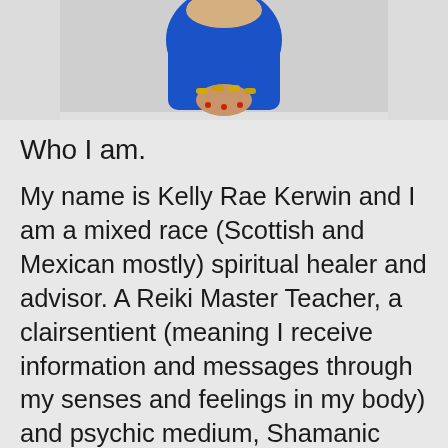[Figure (photo): Partial photo of a woman in a blue dress with gold bracelets, hands clasped in front, photo cropped to show torso and hands only, set against a light grey/white background.]
Who I am.
My name is Kelly Rae Kerwin and I am a mixed race (Scottish and Mexican mostly) spiritual healer and advisor. A Reiki Master Teacher, a clairsentient (meaning I receive information and messages through my senses and feelings in my body) and psychic medium, Shamanic Practitioner, Past Life Regression Therapist, Sound